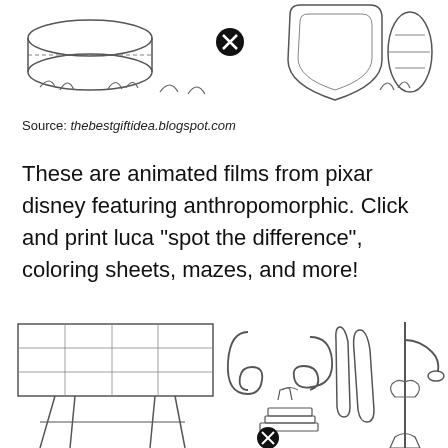[Figure (illustration): Line drawing coloring page showing cartoon barrels/containers with a small 'X' symbol in the middle, on grass, from a Pixar/Disney Luca themed activity sheet.]
Source: thebestgiftidea.blogspot.com
These are animated films from pixar disney featuring anthropomorphic. Click and print luca “spot the difference”, coloring sheets, mazes, and more!
[Figure (illustration): Line drawing coloring page showing a building/billboard on the left, abstract looping shapes in the middle, and a lamp post with decorative elements on the right, with a small 'X' symbol near the bottom center. Luca themed activity sheet.]